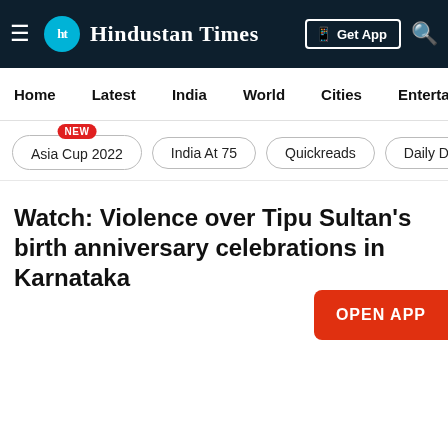Hindustan Times
Home | Latest | India | World | Cities | Entertainment
Asia Cup 2022 NEW | India At 75 | Quickreads | Daily Dige
Watch: Violence over Tipu Sultan's birth anniversary celebrations in Karnataka
OPEN APP